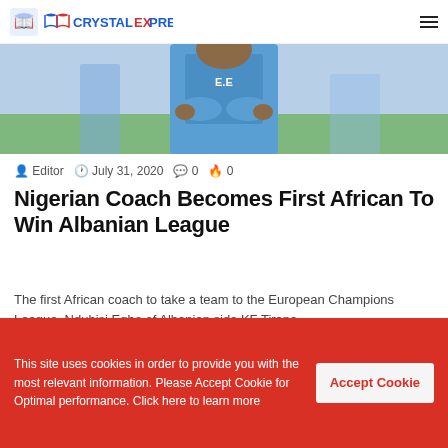CRYSTAL EXPRESS
[Figure (photo): A man in a blue sports jersey with arms crossed, partial torso view, outdoor background]
Editor  July 31, 2020  0  0
Nigerian Coach Becomes First African To Win Albanian League
The first African coach to take a team to the European Champions League, Ndubisi Egbo of Albanian side KF Tirana,…
Read More »
Next page
This site uses cookies in order to provide you with the most relevant information. Please Accept Cookie for Optimal performance. Click here to learn more